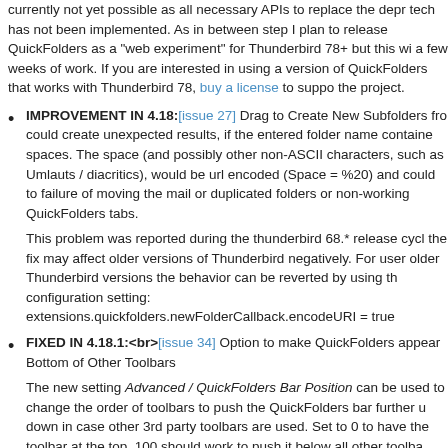currently not yet possible as all necessary APIs to replace the deprecated tech has not been implemented. As in between step I plan to release QuickFolders as a "web experiment" for Thunderbird 78+ but this will be a few weeks of work. If you are interested in using a version of QuickFolders that works with Thunderbird 78, buy a license to support the project.
IMPROVEMENT IN 4.18:[issue 27] Drag to Create New Subfolders from could create unexpected results, if the entered folder name contained spaces. The space (and possibly other non-ASCII characters, such as Umlauts / diacritics), would be url encoded (Space = %20) and could lead to failure of moving the mail or duplicated folders or non-working QuickFolders tabs.
This problem was reported during the thunderbird 68.* release cycle and the fix may affect older versions of Thunderbird negatively. For users on older Thunderbird versions the behavior can be reverted by using the configuration setting: extensions.quickfolders.newFolderCallback.encodeURI = true
FIXED IN 4.18.1:<br>[issue 34] Option to make QuickFolders appear at Bottom of Other Toolbars
The new setting Advanced / QuickFolders Bar Position can be used to change the order of toolbars to push the QuickFolders bar further up or down in case other 3rd party toolbars are used. Set to 0 to have the toolbar at the top, 100 should work to push it below all other toolbars